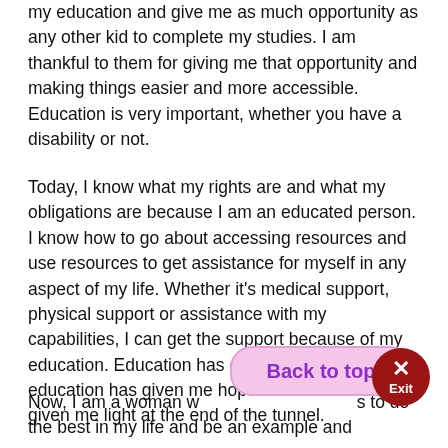my education and give me as much opportunity as any other kid to complete my studies. I am thankful to them for giving me that opportunity and making things easier and more accessible. Education is very important, whether you have a disability or not.
Today, I know what my rights are and what my obligations are because I am an educated person. I know how to go about accessing resources and use resources to get assistance for myself in any aspect of my life. Whether it's medical support, physical support or assistance with my capabilities, I can get the support because of my education. Education has given me reason, education has given me hope and education has given me light at the end of the tunnel.
Now, I am a woman w... to do the best in my life and be an example and ...